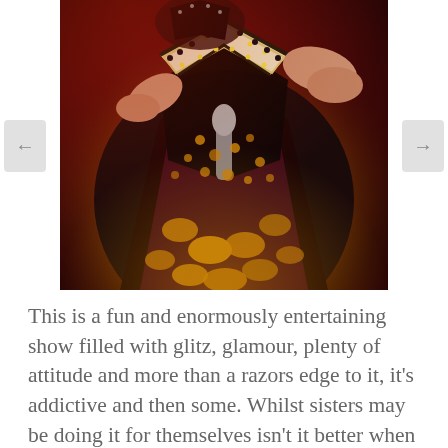[Figure (photo): A performer on stage wearing an elaborate jeweled and sequined costume with bold black, gold, and white geometric patterns including a V-shaped beaded design. The performer appears to be holding a microphone in a dramatic, atmospheric red-lit stage setting.]
This is a fun and enormously entertaining show filled with glitz, glamour, plenty of attitude and more than a razors edge to it, it's addictive and then some. Whilst sisters may be doing it for themselves isn't it better when they work to write in this scenario...